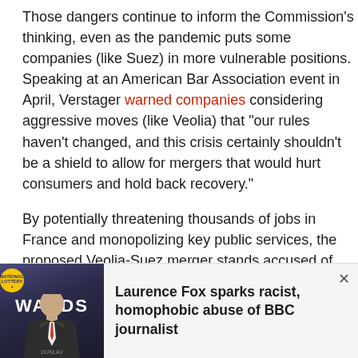Those dangers continue to inform the Commission's thinking, even as the pandemic puts some companies (like Suez) in more vulnerable positions. Speaking at an American Bar Association event in April, Verstager warned companies considering aggressive moves (like Veolia) that "our rules haven't changed, and this crisis certainly shouldn't be a shield to allow for mergers that would hurt consumers and hold back recovery."
By potentially threatening thousands of jobs in France and monopolizing key public services, the proposed Veolia-Suez merger stands accused of doing just that.
Related: EU delivers ultimatum: Abandon plans to override WA or deal is off
[Figure (photo): Advertisement popup showing a man in a suit (Laurence Fox) at an awards ceremony with WARDS text visible, alongside lottery logo]
Laurence Fox sparks racist, homophobic abuse of BBC journalist